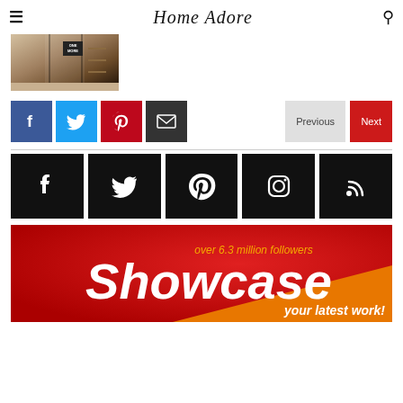Home Adore
[Figure (photo): Interior room thumbnail showing hallway with dark walls and shelving]
[Figure (infographic): Social share buttons: Facebook (blue), Twitter (light blue), Pinterest (red), Email (dark). Navigation buttons: Previous (grey), Next (red)]
[Figure (infographic): Large black social media icon buttons: Facebook, Twitter, Pinterest, Instagram, RSS feed]
[Figure (infographic): Showcase banner with red and orange gradient background. Text: 'over 6.3 million followers', 'Showcase', 'your latest work!']